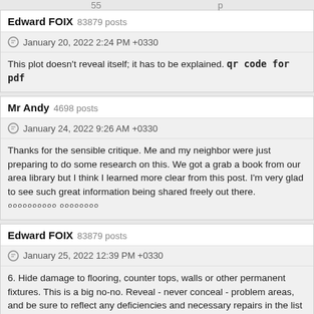35 ... p
Edward FOIX 83879 posts
January 20, 2022 2:24 PM +0330
This plot doesn't reveal itself; it has to be explained. qr code for pdf
Mr Andy 4698 posts
January 24, 2022 9:26 AM +0330
Thanks for the sensible critique. Me and my neighbor were just preparing to do some research on this. We got a grab a book from our area library but I think I learned more clear from this post. I'm very glad to see such great information being shared freely out there. ০০০০০০০০০০ ০০০০০০০০
Edward FOIX 83879 posts
January 25, 2022 12:39 PM +0330
6. Hide damage to flooring, counter tops, walls or other permanent fixtures. This is a big no-no. Reveal - never conceal - problem areas, and be sure to reflect any deficiencies and necessary repairs in the list price.   sig sauer p226 mk25 for sale
Edward FOIX